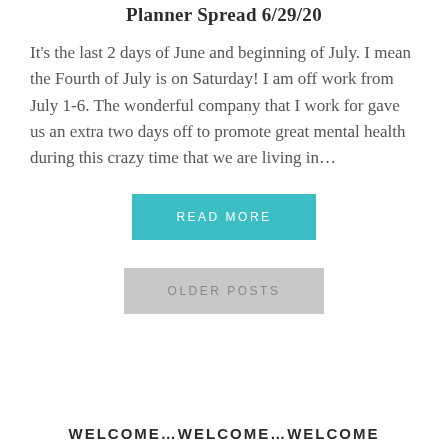Planner Spread 6/29/20
It's the last 2 days of June and beginning of July. I mean the Fourth of July is on Saturday! I am off work from July 1-6. The wonderful company that I work for gave us an extra two days off to promote great mental health during this crazy time that we are living in...
[Figure (other): READ MORE button in teal/cyan color]
[Figure (other): OLDER POSTS button in light gray color]
WELCOME...WELCOME...WELCOME